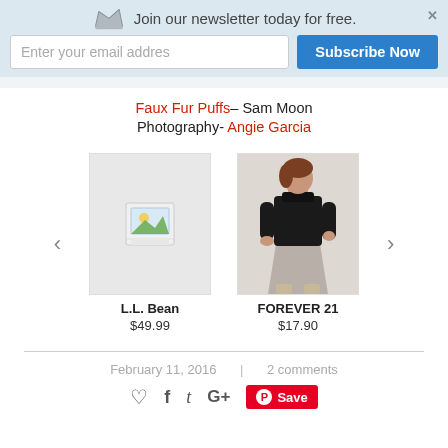Join our newsletter today for free.
Faux Fur Puffs– Sam Moon
Photography- Angie Garcia
[Figure (other): Broken image placeholder for L.L. Bean product]
[Figure (photo): Photo of model wearing black turtleneck and grey skirt from Forever 21]
L.L. Bean
$49.99
FOREVER 21
$17.90
February 11, 2016 | 2 comments